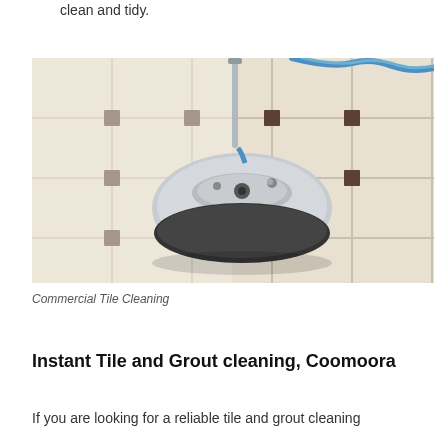clean and tidy.
[Figure (photo): A commercial tile cleaning machine (rotary floor buffer/scrubber) being operated on light cream ceramic tile flooring with grout lines, with a blue hose visible in the background.]
Commercial Tile Cleaning
Instant Tile and Grout cleaning, Coomoora
If you are looking for a reliable tile and grout cleaning